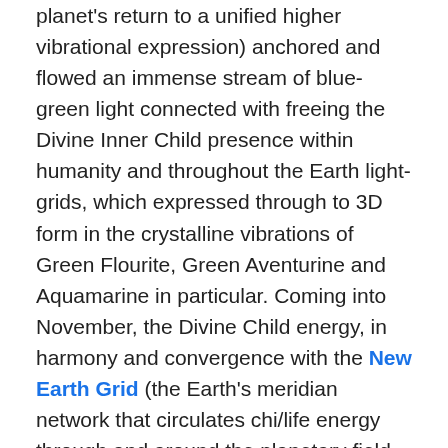planet's return to a unified higher vibrational expression) anchored and flowed an immense stream of blue-green light connected with freeing the Divine Inner Child presence within humanity and throughout the Earth light-grids, which expressed through to 3D form in the crystalline vibrations of Green Flourite, Green Aventurine and Aquamarine in particular. Coming into November, the Divine Child energy, in harmony and convergence with the New Earth Grid (the Earth's meridian network that circulates chi/life energy through and around the planetary field, combined with the crystalline heart grid and unity consciousness grid) is being anchored, imprinted and established more deeply into the collective consciousness field ~ peaking through the 11-11-11 Gateway (11th day of the 11th month of an 11 year, where 2+0+1+8=11), then facilitating major Light inflows later in November and